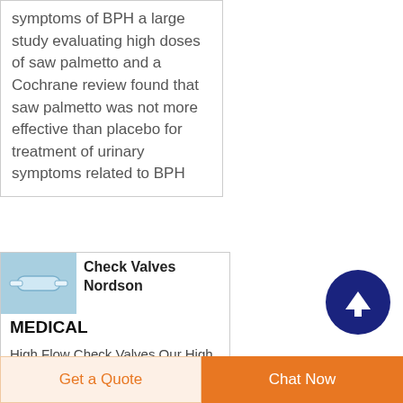symptoms of BPH a large study evaluating high doses of saw palmetto and a Cochrane review found that saw palmetto was not more effective than placebo for treatment of urinary symptoms related to BPH
[Figure (photo): Small product image showing a check valve device on blue background]
Check Valves Nordson MEDICAL
High Flow Check Valves Our High Flow Check Valves are specifically designed with quality medical grade USP
[Figure (other): Dark blue circular button with white upward arrow icon]
Get a Quote | Chat Now